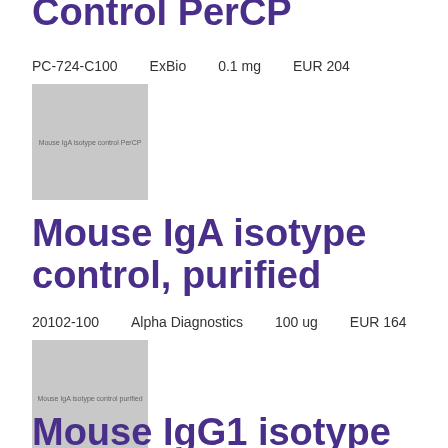Control PerCP
PC-724-C100    ExBio    0.1 mg    EUR 204
[Figure (photo): Mouse IgA isotype control PerCP product image placeholder]
Mouse IgA isotype control, purified
20102-100    Alpha Diagnostics    100 ug    EUR 164
[Figure (photo): Mouse IgA isotype control purified product image placeholder]
Mouse IgG1 isotype